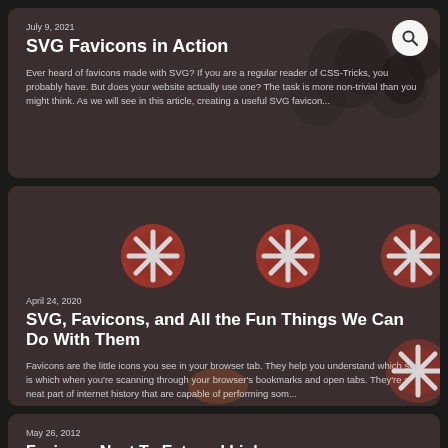July 9, 2021
SVG Favicons in Action
Ever heard of favicons made with SVG? If you are a regular reader of CSS-Tricks, you probably have. But does your website actually use one? The task is more non-trivial than you might think. As we will see in this article, creating a useful SVG favicon...
April 24, 2020
SVG, Favicons, and All the Fun Things We Can Do With Them
Favicons are the little icons you see in your browser tab. They help you understand which site is which when you're scanning through your browser's bookmarks and open tabs. They're a neat part of internet history that are capable of performing som...
May 26, 2012
Favicons Next To External Links
A couple of techniques and food for thought around the idea of adding a favicon next to links on websites.